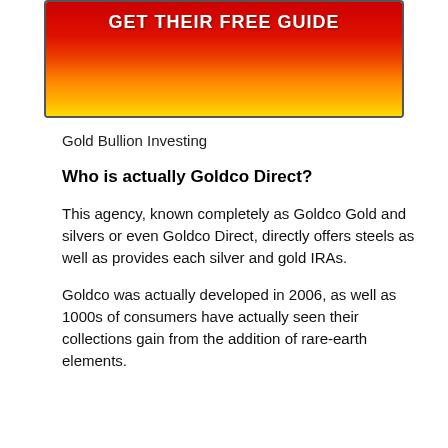[Figure (illustration): Red-to-yellow gradient banner with white bold text reading 'GET THEIR FREE GUIDE', bordered with a thin gray border and rounded corners.]
Gold Bullion Investing
Who is actually Goldco Direct?
This agency, known completely as Goldco Gold and silvers or even Goldco Direct, directly offers steels as well as provides each silver and gold IRAs.
Goldco was actually developed in 2006, as well as 1000s of consumers have actually seen their collections gain from the addition of rare-earth elements.